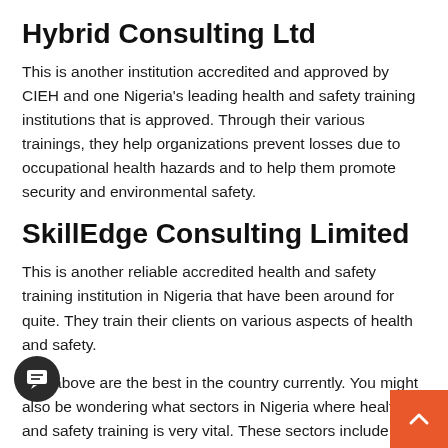Hybrid Consulting Ltd
This is another institution accredited and approved by CIEH and one Nigeria's leading health and safety training institutions that is approved. Through their various trainings, they help organizations prevent losses due to occupational health hazards and to help them promote security and environmental safety.
SkillEdge Consulting Limited
This is another reliable accredited health and safety training institution in Nigeria that have been around for quite. They train their clients on various aspects of health and safety.
The above are the best in the country currently. You might also be wondering what sectors in Nigeria where health and safety training is very vital. These sectors include energy, power, telecommunication industry, oil & gas, construction